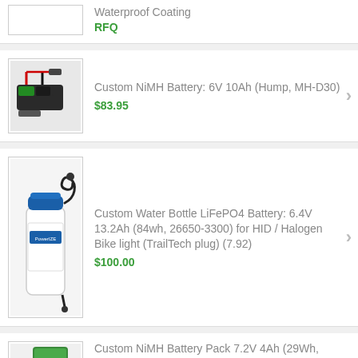Waterproof Coating
RFQ
Custom NiMH Battery: 6V 10Ah (Hump, MH-D30)
$83.95
[Figure (photo): NiMH battery pack with red and black wires]
Custom Water Bottle LiFePO4 Battery: 6.4V 13.2Ah (84wh, 26650-3300) for HID / Halogen Bike light (TrailTech plug) (7.92)
$100.00
[Figure (photo): Blue and white water bottle with coiled cable attached]
Custom NiMH Battery Pack 7.2V 4Ah (29Wh, 4/3A SANYO cell, 2x3, HR-4/3AU) with coil cable and 761K plug
[Figure (photo): Green battery pack with coiled black cable]